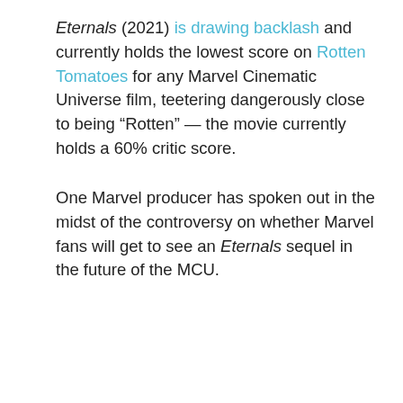Eternals (2021) is drawing backlash and currently holds the lowest score on Rotten Tomatoes for any Marvel Cinematic Universe film, teetering dangerously close to being “Rotten” — the movie currently holds a 60% critic score.
One Marvel producer has spoken out in the midst of the controversy on whether Marvel fans will get to see an Eternals sequel in the future of the MCU.